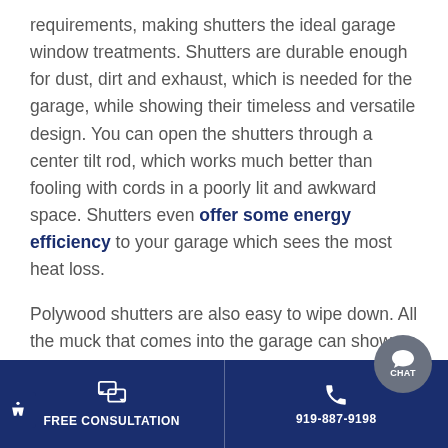requirements, making shutters the ideal garage window treatments. Shutters are durable enough for dust, dirt and exhaust, which is needed for the garage, while showing their timeless and versatile design. You can open the shutters through a center tilt rod, which works much better than fooling with cords in a poorly lit and awkward space. Shutters even offer some energy efficiency to your garage which sees the most heat loss.
Polywood shutters are also easy to wipe down. All the muck that comes into the garage can show on your plantation shutters. The good news is you can take a damp cloth and lightly scrub your fa...
FREE CONSULTATION | 919-887-9198